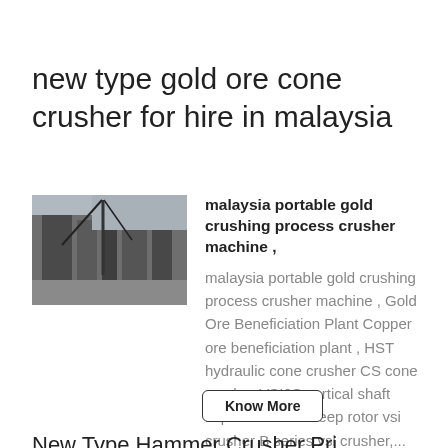new type gold ore cone crusher for hire in malaysia
[Figure (photo): Industrial machinery/crusher equipment photo in grayscale]
malaysia portable gold crushing process crusher machine ,
malaysia portable gold crushing process crusher machine , Gold Ore Beneficiation Plant Copper ore beneficiation plant , HST hydraulic cone crusher CS cone crusher VSI6S vertical shaft impact crusher Deep rotor vsi crusher B series vsi crusher,...
Know More
New Type Hammer Crusher Pri...